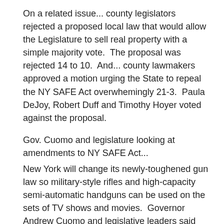On a related issue... county legislators rejected a proposed local law that would allow the Legislature to sell real property with a simple majority vote.  The proposal was rejected 14 to 10.  And... county lawmakers approved a motion urging the State to repeal the NY SAFE Act overwhemingly 21-3.  Paula DeJoy, Robert Duff and Timothy Hoyer voted against the proposal.
Gov. Cuomo and legislature looking at amendments to NY SAFE Act...
New York will change its newly-toughened gun law so military-style rifles and high-capacity semi-automatic handguns can be used on the sets of TV shows and movies.  Governor Andrew Cuomo and legislative leaders said Wednesday they'll exempt the productions in New York from bans they rushed into law as the first in the nation after the Newtown school massacre.  They must also quickly fix another error that could soon put police